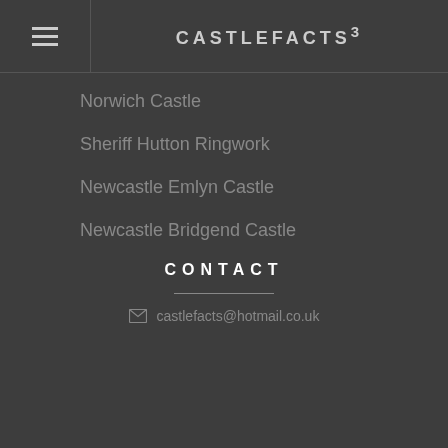CASTLEFACTS³
Norwich Castle
Sheriff Hutton Ringwork
Newcastle Emlyn Castle
Newcastle Bridgend Castle
CONTACT
castlefacts@hotmail.co.uk